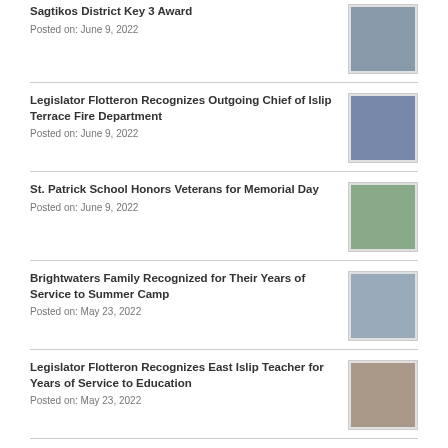Sagtikos District Key 3 Award
Posted on: June 9, 2022
Legislator Flotteron Recognizes Outgoing Chief of Islip Terrace Fire Department
Posted on: June 9, 2022
St. Patrick School Honors Veterans for Memorial Day
Posted on: June 9, 2022
Brightwaters Family Recognized for Their Years of Service to Summer Camp
Posted on: May 23, 2022
Legislator Flotteron Recognizes East Islip Teacher for Years of Service to Education
Posted on: May 23, 2022
Legislator Flotteron Recognizes Ten-Year-Old for